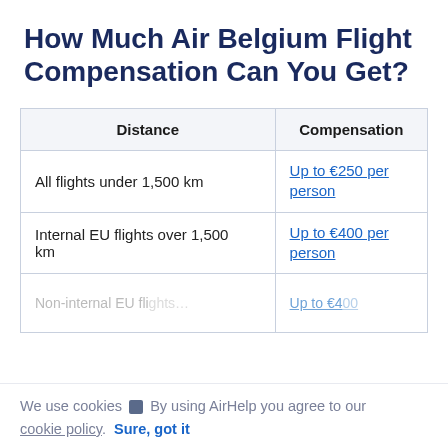How Much Air Belgium Flight Compensation Can You Get?
| Distance | Compensation |
| --- | --- |
| All flights under 1,500 km | Up to €250 per person |
| Internal EU flights over 1,500 km | Up to €400 per person |
| Non-internal EU fli… | Up to €4… |
We use cookies 🍪 By using AirHelp you agree to our cookie policy. Sure, got it